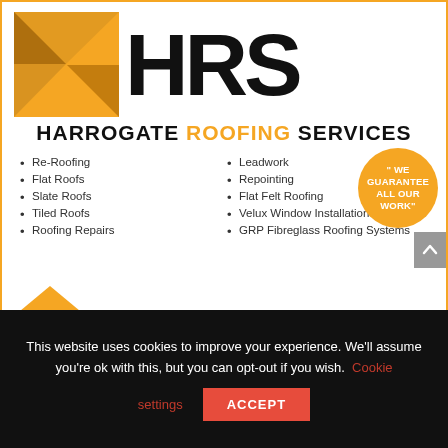[Figure (logo): HRS Harrogate Roofing Services logo with orange diamond/arrow shape and large HRS text, followed by company name and list of services, with guarantee circle badge]
Re-Roofing
Flat Roofs
Slate Roofs
Tiled Roofs
Roofing Repairs
Leadwork
Repointing
Flat Felt Roofing
Velux Window Installation
GRP Fibreglass Roofing Systems
This website uses cookies to improve your experience. We'll assume you're ok with this, but you can opt-out if you wish. Cookie settings ACCEPT